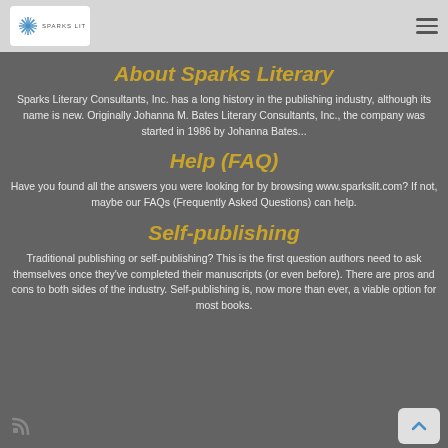Sparks Literary [logo] [hamburger menu]
About Sparks Literary
Sparks Literary Consultants, Inc. has a long history in the publishing industry, although its name is new. Originally Johanna M. Bates Literary Consultants, Inc., the company was started in 1986 by Johanna Bates...
Help (FAQ)
Have you found all the answers you were looking for by browsing www.sparkslit.com? If not, maybe our FAQs (Frequently Asked Questions) can help.
Self-publishing
Traditional publishing or self-publishing? This is the first question authors need to ask themselves once they've completed their manuscripts (or even before). There are pros and cons to both sides of the industry. Self-publishing is, now more than ever, a viable option for most books.
[RSS icon] [Back to top button]